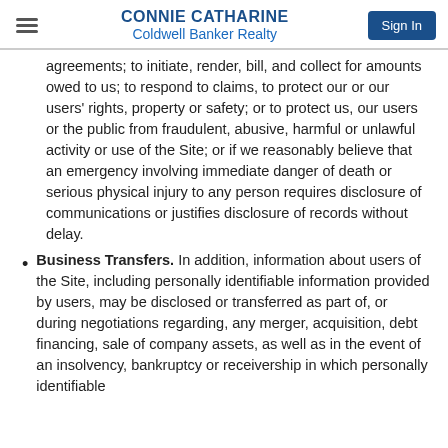CONNIE CATHARINE
Coldwell Banker Realty
agreements; to initiate, render, bill, and collect for amounts owed to us; to respond to claims, to protect our or our users' rights, property or safety; or to protect us, our users or the public from fraudulent, abusive, harmful or unlawful activity or use of the Site; or if we reasonably believe that an emergency involving immediate danger of death or serious physical injury to any person requires disclosure of communications or justifies disclosure of records without delay.
Business Transfers. In addition, information about users of the Site, including personally identifiable information provided by users, may be disclosed or transferred as part of, or during negotiations regarding, any merger, acquisition, debt financing, sale of company assets, as well as in the event of an insolvency, bankruptcy or receivership in which personally identifiable